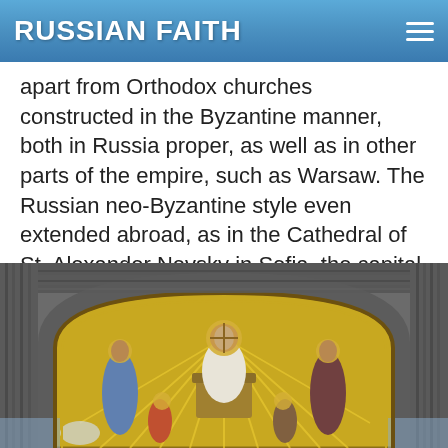RUSSIAN FAITH
apart from Orthodox churches constructed in the Byzantine manner, both in Russia proper, as well as in other parts of the empire, such as Warsaw. The Russian neo-Byzantine style even extended abroad, as in the Cathedral of St. Alexander Nevsky in Sofia, the capital of Bulgaria.
[Figure (photo): Photograph of a cathedral mosaic showing Christ enthroned in a Byzantine arch, surrounded by saints with golden halos, set within ornate stone architecture — Cathedral of St. Alexander Nevsky in Sofia, Bulgaria.]